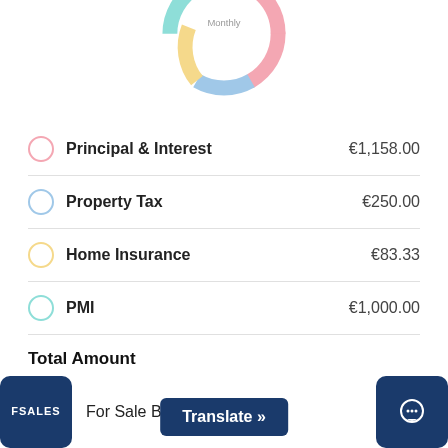[Figure (donut-chart): Monthly]
| Category | Amount |
| --- | --- |
| Principal & Interest | €1,158.00 |
| Property Tax | €250.00 |
| Home Insurance | €83.33 |
| PMI | €1,000.00 |
Total Amount
€ 160000
Down Payment
FSALES  For Sale By Owner  Translate »